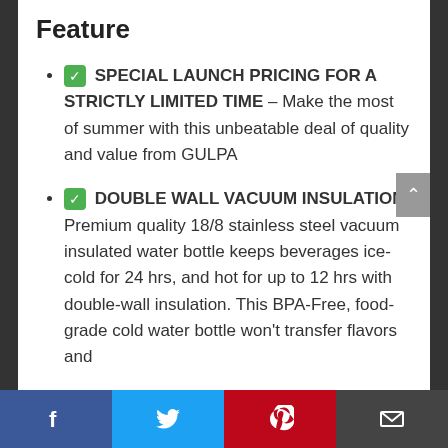Feature
✅ SPECIAL LAUNCH PRICING FOR A STRICTLY LIMITED TIME – Make the most of summer with this unbeatable deal of quality and value from GULPA
✅ DOUBLE WALL VACUUM INSULATION: Premium quality 18/8 stainless steel vacuum insulated water bottle keeps beverages ice-cold for 24 hrs, and hot for up to 12 hrs with double-wall insulation. This BPA-Free, food-grade cold water bottle won't transfer flavors and
Facebook | Twitter | Pinterest | Email